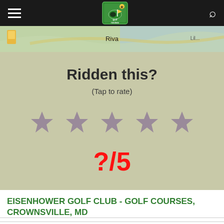Golf Review app navigation bar with hamburger menu, Golf Review logo, and search icon
[Figure (map): Map strip showing Riva area with green and blue terrain colors and a yellow location pin on the left]
Ridden this?
(Tap to rate)
[Figure (infographic): Five star rating icons in muted mauve/grey color, unrated]
?/5
EISENHOWER GOLF CLUB - GOLF COURSES, CROWNSVILLE, MD